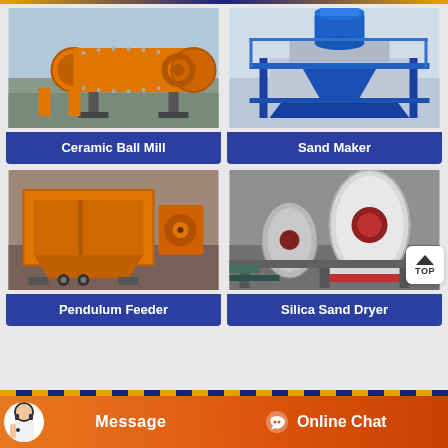[Figure (photo): Orange ceramic ball mill machine in industrial setting]
Ceramic Ball Mill
[Figure (photo): Blue sand maker machine in industrial facility]
Sand Maker
[Figure (photo): Orange pendulum feeder machine]
Pendulum Feeder
[Figure (photo): Silica sand dryer drum machine, white/grey]
Silica Sand Dryer
Message
Online Chat